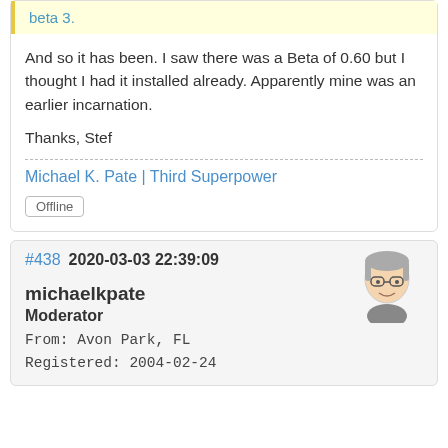beta 3.
And so it has been. I saw there was a Beta of 0.60 but I thought I had it installed already. Apparently mine was an earlier incarnation.
Thanks, Stef
Michael K. Pate | Third Superpower
Offline
#438 2020-03-03 22:39:09
michaelkpate
Moderator
From: Avon Park, FL
Registered: 2004-02-24